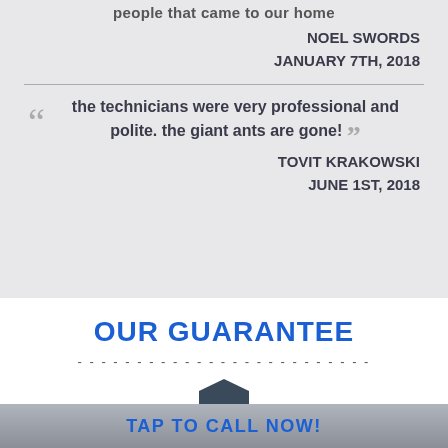people that came to our home
NOEL SWORDS
JANUARY 7TH, 2018
the technicians were very professional and polite. the giant ants are gone!
TOVIT KRAKOWSKI
JUNE 1ST, 2018
OUR GUARANTEE
[Figure (illustration): Shield or guarantee icon partially visible]
TAP TO CALL NOW!